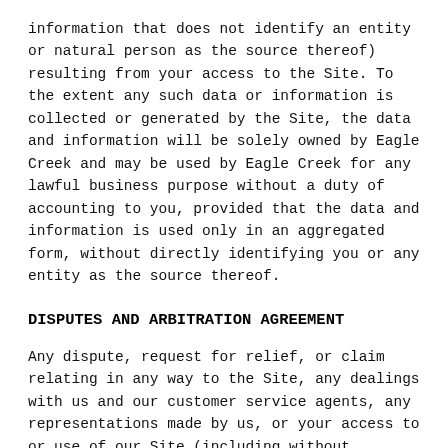information that does not identify an entity or natural person as the source thereof) resulting from your access to the Site. To the extent any such data or information is collected or generated by the Site, the data and information will be solely owned by Eagle Creek and may be used by Eagle Creek for any lawful business purpose without a duty of accounting to you, provided that the data and information is used only in an aggregated form, without directly identifying you or any entity as the source thereof.
DISPUTES AND ARBITRATION AGREEMENT
Any dispute, request for relief, or claim relating in any way to the Site, any dealings with us and our customer service agents, any representations made by us, or your access to or use of our Site (including without limitation claims relating to the breach of these Terms of Use will be resolved by binding arbitration, rather than in court, except that (1) you may